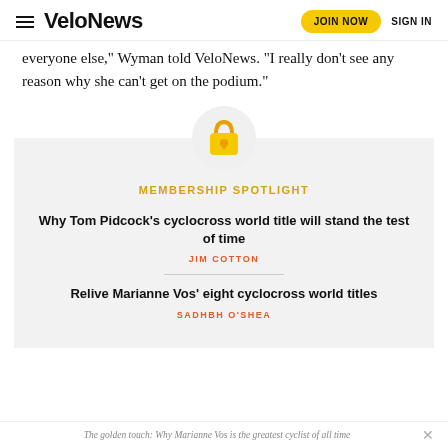VeloNews | JOIN NOW | SIGN IN
everyone else," Wyman told VeloNews. "I really don't see any reason why she can't get on the podium."
[Figure (illustration): Gold padlock icon on a light gray circle background]
MEMBERSHIP SPOTLIGHT
Why Tom Pidcock's cyclocross world title will stand the test of time
JIM COTTON
Relive Marianne Vos' eight cyclocross world titles
SADHBH O'SHEA
The golden touch: Why Marianne Vos is the greatest cyclist of all time